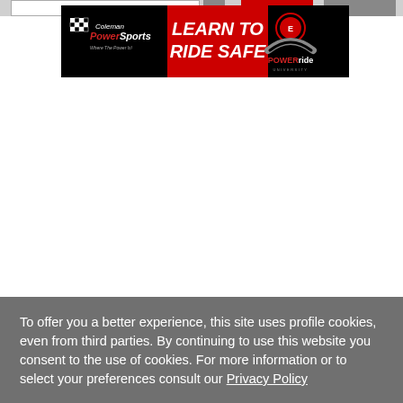[Figure (advertisement): Coleman PowerSports 'Learn To Ride Safe' advertisement banner featuring the Coleman PowerSports logo on the left, red center panel with 'LEARN TO RIDE SAFE' text, and POWERride University logo on the right, all on a black background.]
To offer you a better experience, this site uses profile cookies, even from third parties. By continuing to use this website you consent to the use of cookies. For more information or to select your preferences consult our Privacy Policy